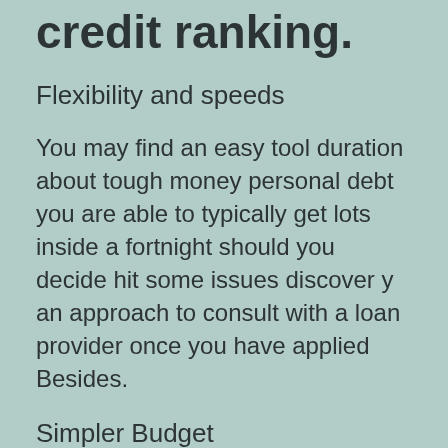credit ranking.
Flexibility and speeds
You may find an easy tool duration about tough money personal debt you are able to typically get lots inside a fortnight should you decide hit some issues discover y an approach to consult with a loan provider once you have applied Besides.
Simpler Budget
To get an old-fashioned money from a financial to your opposite hard money creditors are